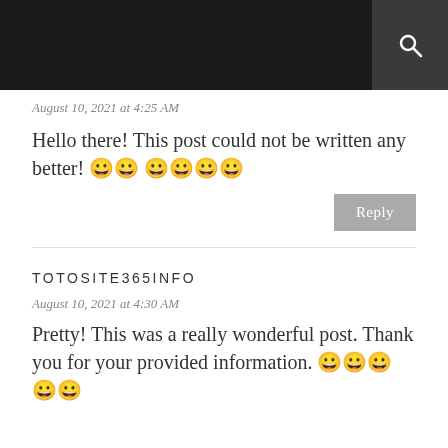August 10, 2021 at 4:25 AM
Hello there! This post could not be written any better! 😀😀 😀😀😀😀
Reply
TOTOSITE365INFO
August 10, 2021 at 4:30 AM
Pretty! This was a really wonderful post. Thank you for your provided information. 😀😀😀😀😀